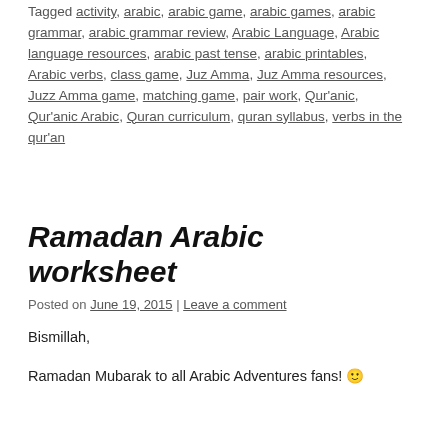Tagged activity, arabic, arabic game, arabic games, arabic grammar, arabic grammar review, Arabic Language, Arabic language resources, arabic past tense, arabic printables, Arabic verbs, class game, Juz Amma, Juz Amma resources, Juzz Amma game, matching game, pair work, Qur'anic, Qur'anic Arabic, Quran curriculum, quran syllabus, verbs in the qur'an
Ramadan Arabic worksheet
Posted on June 19, 2015 | Leave a comment
Bismillah,
Ramadan Mubarak to all Arabic Adventures fans! 🙂